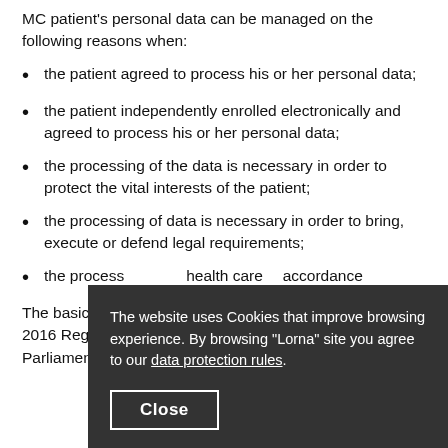MC patient's personal data can be managed on the following reasons when:
the patient agreed to process his or her personal data;
the patient independently enrolled electronically and agreed to process his or her personal data;
the processing of the data is necessary in order to protect the vital interests of the patient;
the processing of data is necessary in order to bring, execute or defend legal requirements;
the processing of … health care … accordance …
The basics of … 2016 Regulation … Parliament and of the Council on the protection of …
The website uses Cookies that improve browsing experience. By browsing "Lorna" site you agree to our data protection rules.